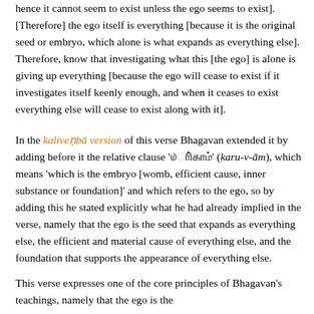hence it cannot seem to exist unless the ego seems to exist]. [Therefore] the ego itself is everything [because it is the original seed or embryo, which alone is what expands as everything else]. Therefore, know that investigating what this [the ego] is alone is giving up everything [because the ego will cease to exist if it investigates itself keenly enough, and when it ceases to exist everything else will cease to exist along with it].
In the kalivenba version of this verse Bhagavan extended it by adding before it the relative clause '       ' (karu-v-am), which means 'which is the embryo [womb, efficient cause, inner substance or foundation]' and which refers to the ego, so by adding this he stated explicitly what he had already implied in the verse, namely that the ego is the seed that expands as everything else, the efficient and material cause of everything else, and the foundation that supports the appearance of everything else.
This verse expresses one of the core principles of Bhagavan's teachings, namely that the ego is the...